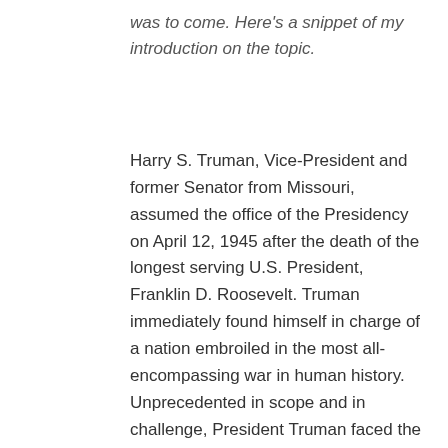was to come. Here's a snippet of my introduction on the topic.
Harry S. Truman, Vice-President and former Senator from Missouri, assumed the office of the Presidency on April 12, 1945 after the death of the longest serving U.S. President, Franklin D. Roosevelt. Truman immediately found himself in charge of a nation embroiled in the most all-encompassing war in human history. Unprecedented in scope and in challenge, President Truman faced the ravages of war waning in Europe but with the likelihood of a long and costly affair in the Pacific Theater against Japan. The